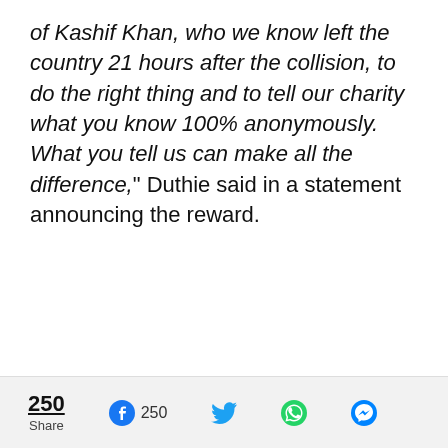of Kashif Khan, who we know left the country 21 hours after the collision, to do the right thing and to tell our charity what you know 100% anonymously. What you tell us can make all the difference," Duthie said in a statement announcing the reward.
250 Share | Facebook 250 | Twitter | WhatsApp | Messenger